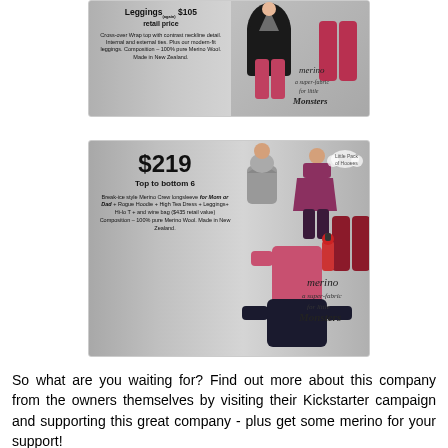[Figure (photo): Product advertisement card showing a wrap top and leggings combo. Text reads: 'Leggings (again) $105 retail price. Cross-over Wrap top with contrast neckline detail. Internal and external ties. Plus our modern-fit leggings. Composition – 100% pure Merino Wool. Made in New Zealand.' Features merino branding 'a super-fabric for little Monsters'.]
[Figure (photo): Product advertisement card showing $219 'Top to bottom 6' bundle. Text reads: 'Break-ice style Merino Crew longsleeve for Mom or Dad + Rogue Hoodie + High Tea Dress + Leggings + Hi-lo T + and wine bag ($435 retail value). Composition – 100% pure Merino Wool. Made in New Zealand.' Features merino branding 'a super-fabric for little Monsters' and 'Little Pack of Hooees'.]
So what are you waiting for? Find out more about this company from the owners themselves by visiting their Kickstarter campaign and supporting this great company - plus get some merino for your support!